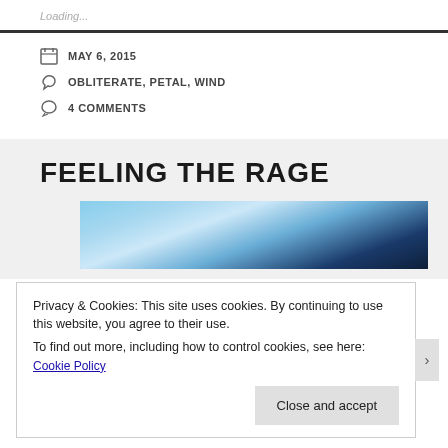Loading...
MAY 6, 2015
OBLITERATE, PETAL, WIND
4 COMMENTS
FEELING THE RAGE
[Figure (photo): Blue sky with white clouds and dark structural element (roof/wire)]
Privacy & Cookies: This site uses cookies. By continuing to use this website, you agree to their use.
To find out more, including how to control cookies, see here: Cookie Policy
Close and accept